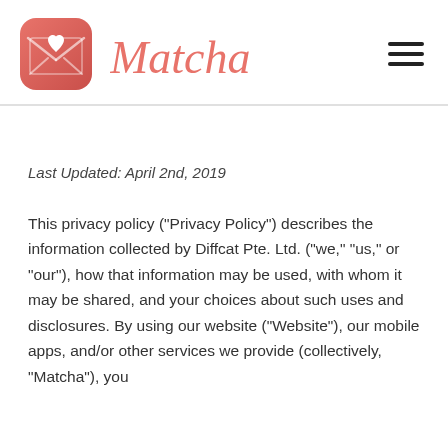[Figure (logo): Matcha app logo: a rounded square icon with coral/salmon gradient background and a white envelope with a heart, next to the cursive text 'Matcha' in coral color, and a hamburger menu icon on the right]
Last Updated: April 2nd, 2019
This privacy policy (“Privacy Policy”) describes the information collected by Diffcat Pte. Ltd. (“we,” “us,” or “our”), how that information may be used, with whom it may be shared, and your choices about such uses and disclosures. By using our website (“Website”), our mobile apps, and/or other services we provide (collectively, “Matcha”), you